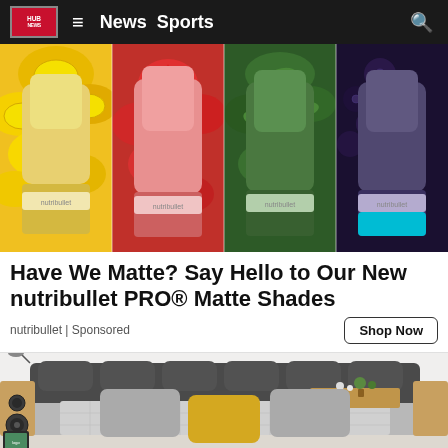HUB logo | ≡ News Sports 🔍
[Figure (photo): Four nutribullet PRO blender bottles in matte shades (yellow, pink, green, purple) against matching fruit/vegetable backgrounds (lemons, strawberries, greens, blueberries)]
Have We Matte? Say Hello to Our New nutribullet PRO® Matte Shades
nutribullet | Sponsored
Shop Now
[Figure (photo): A modern smart bed/sofa with dark gray upholstery, built-in speakers, reading lamp, wooden side panels, and decorative pillows including a yellow accent pillow]